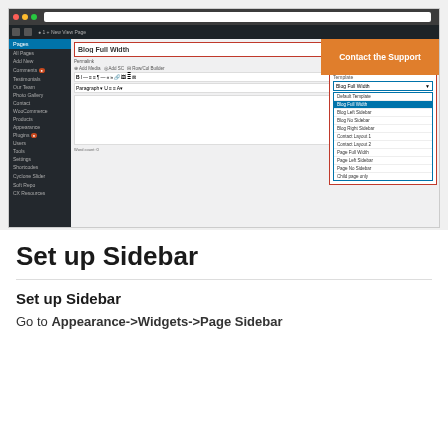[Figure (screenshot): WordPress admin page editor screenshot showing 'Blog Full Width' page being edited, with Page Attributes panel open on the right showing a template dropdown with options including Default Template, Blog Full Width (selected/highlighted), Blog Left Sidebar, Blog No Sidebar, Blog Right Sidebar, Contact Layout 1, Contact Layout 2, Page Full Width, Page Left Sidebar, Page No Sidebar, Child page only. An orange 'Contact the Support' banner overlay appears in the top right.]
Set up Sidebar
Set up Sidebar
Go to Appearance->Widgets->Page Sidebar